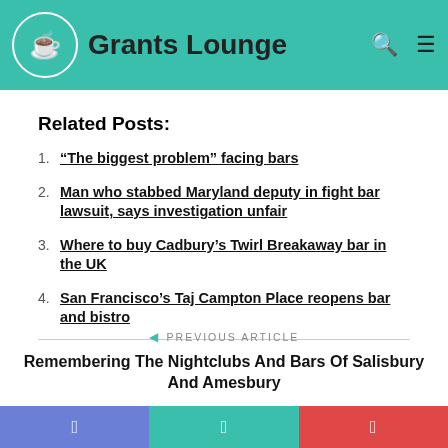Grants Lounge
Related Posts:
"The biggest problem" facing bars
Man who stabbed Maryland deputy in fight bar lawsuit, says investigation unfair
Where to buy Cadbury's Twirl Breakaway bar in the UK
San Francisco's Taj Campton Place reopens bar and bistro
PREVIOUS ARTICLE
Remembering The Nightclubs And Bars Of Salisbury And Amesbury